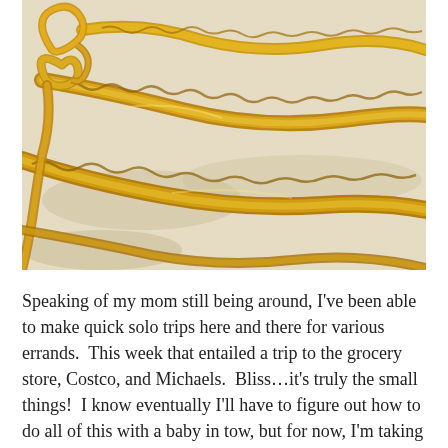[Figure (photo): Close-up photograph of yellow/golden crochet chains and braided yarn strands laid on a light beige/cream fabric background. The yarn forms looped and twisted patterns.]
Speaking of my mom still being around, I've been able to make quick solo trips here and there for various errands.  This week that entailed a trip to the grocery store, Costco, and Michaels.  Bliss…it's truly the small things!  I know eventually I'll have to figure out how to do all of this with a baby in tow, but for now, I'm taking full advantage of being able to go at it alone.  So